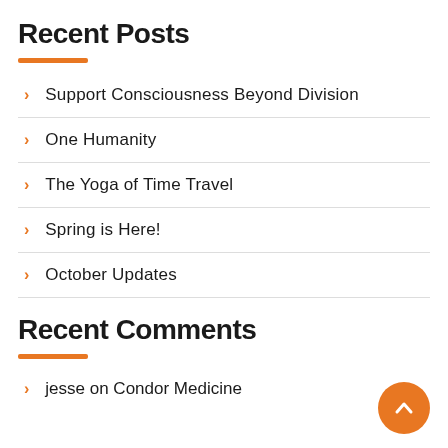Recent Posts
Support Consciousness Beyond Division
One Humanity
The Yoga of Time Travel
Spring is Here!
October Updates
Recent Comments
jesse on Condor Medicine